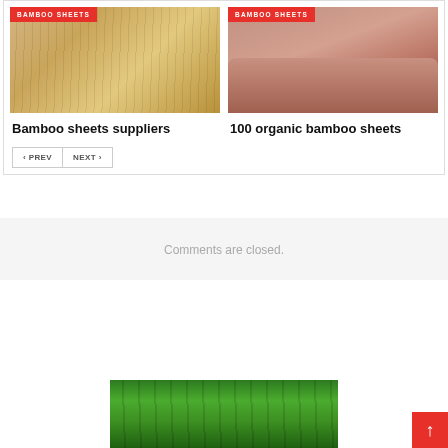[Figure (photo): Bamboo sticks/stalks product image with red BAMBOO SHEETS badge]
[Figure (photo): Bed with pink/mauve bamboo sheets with red BAMBOO SHEETS badge]
Bamboo sheets suppliers
100 organic bamboo sheets
< PREV  NEXT >
Comments are closed.
[Figure (photo): Green bamboo forest image at bottom of page]